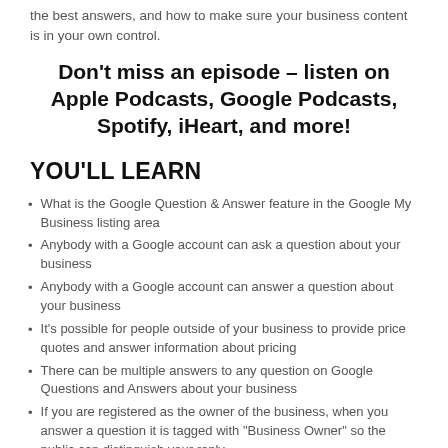the best answers, and how to make sure your business content is in your own control.
Don't miss an episode – listen on Apple Podcasts, Google Podcasts, Spotify, iHeart, and more!
YOU'LL LEARN
What is the Google Question & Answer feature in the Google My Business listing area
Anybody with a Google account can ask a question about your business
Anybody with a Google account can answer a question about your business
It's possible for people outside of your business to provide price quotes and answer information about pricing
There can be multiple answers to any question on Google Questions and Answers about your business
If you are registered as the owner of the business, when you answer a question it is tagged with "Business Owner" so the public can distinguish your reply